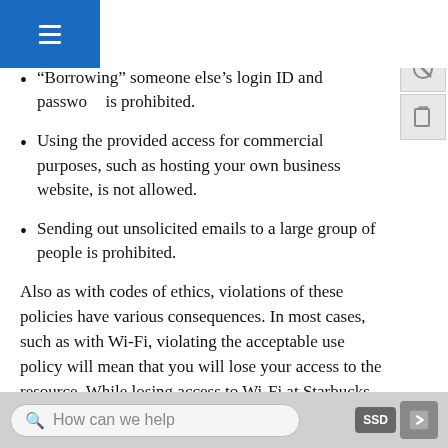u. Again, while some of the items listed are s to most, others are not so obvious:
“Borrowing” someone else’s login ID and password is prohibited.
Using the provided access for commercial purposes, such as hosting your own business website, is not allowed.
Sending out unsolicited emails to a large group of people is prohibited.
Also as with codes of ethics, violations of these policies have various consequences. In most cases, such as with Wi-Fi, violating the acceptable use policy will mean that you will lose your access to the resource. While losing access to Wi-Fi at Starbucks
How can we help